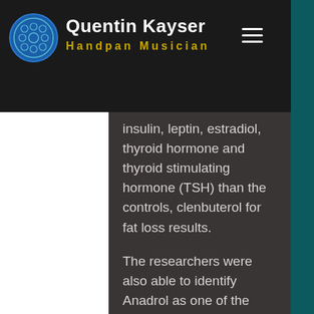Quentin Kayser Handpan Musician
insulin, leptin, estradiol, thyroid hormone and thyroid stimulating hormone (TSH) than the controls, clenbuterol for fat loss results.
The researchers were also able to identify Anadrol as one of the ingredients used in the anabolic steroids, clenbuterol cycle for weight loss. This suggests that Anadrol is a very powerful anabolic or fat-dissolving steroid and in the study the subjects that received Anadrol experienced the worst fat loss of the subjects and increased bodyweight.
The second study, which took place from 1999 to 2001, in the journal Applied Physiology International found that the bodybuilders also had higher levels of